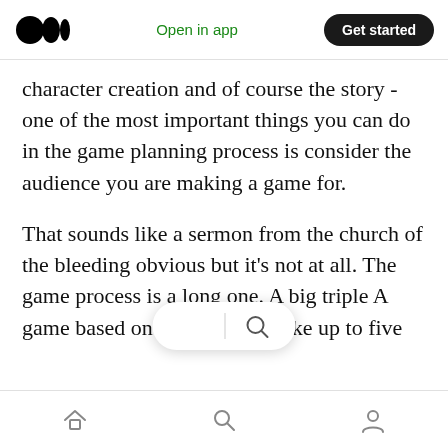Medium logo | Open in app | Get started
character creation and of course the story - one of the most important things you can do in the game planning process is consider the audience you are making a game for.
That sounds like a sermon from the church of the bleeding obvious but it's not at all. The game process is a long one. A big triple A game based on a new IP can take up to five years to deliver and involve many hundreds of different people working across mu… …d creative and technological roles. …hange in five
Home | Search | Profile